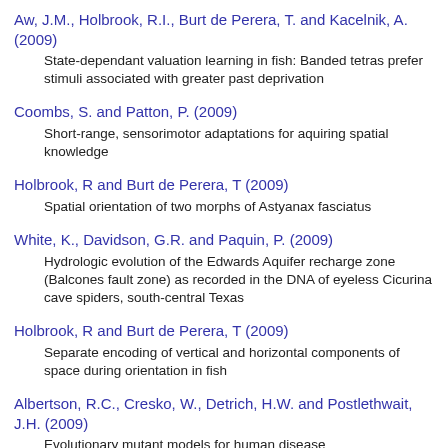Aw, J.M., Holbrook, R.I., Burt de Perera, T. and Kacelnik, A. (2009)
State-dependant valuation learning in fish: Banded tetras prefer stimuli associated with greater past deprivation
Coombs, S. and Patton, P. (2009)
Short-range, sensorimotor adaptations for aquiring spatial knowledge
Holbrook, R and Burt de Perera, T (2009)
Spatial orientation of two morphs of Astyanax fasciatus
White, K., Davidson, G.R. and Paquin, P. (2009)
Hydrologic evolution of the Edwards Aquifer recharge zone (Balcones fault zone) as recorded in the DNA of eyeless Cicurina cave spiders, south-central Texas
Holbrook, R and Burt de Perera, T (2009)
Separate encoding of vertical and horizontal components of space during orientation in fish
Albertson, R.C., Cresko, W., Detrich, H.W. and Postlethwait, J.H. (2009)
Evolutionary mutant models for human disease
Pottin, K and Retaux, S (2009)